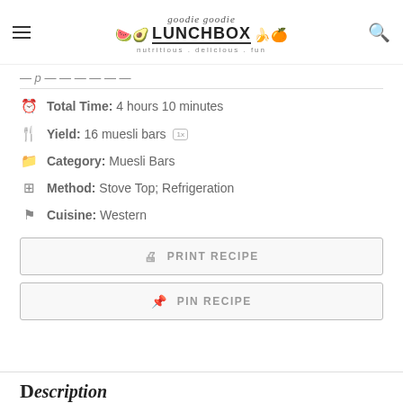goodie goodie LUNCHBOX nutritious.delicious.fun
Total Time: 4 hours 10 minutes
Yield: 16 muesli bars
Category: Muesli Bars
Method: Stove Top; Refrigeration
Cuisine: Western
PRINT RECIPE
PIN RECIPE
Description